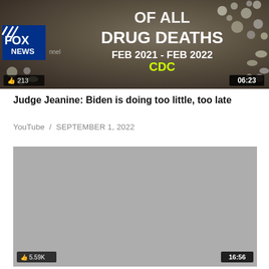[Figure (screenshot): YouTube video thumbnail showing Fox News graphic about drug deaths (Feb 2021 - Feb 2022, CDC), with Fox News logo, 213 likes, and 06:23 duration badge]
Judge Jeanine: Biden is doing too little, too late
YouTube  /  SEPTEMBER 1, 2022
[Figure (screenshot): Second YouTube video thumbnail, gray/blank content area, with 5.59K likes badge and 16:56 duration badge]